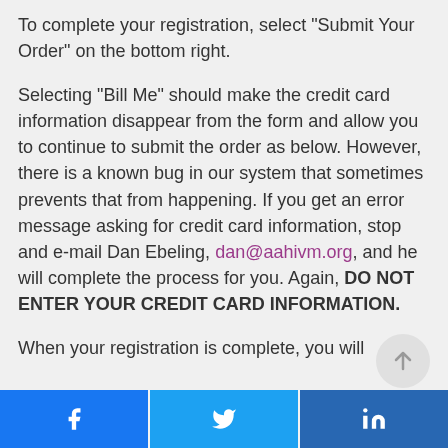To complete your registration, select “Submit Your Order” on the bottom right.
Selecting “Bill Me” should make the credit card information disappear from the form and allow you to continue to submit the order as below.  However, there is a known bug in our system that sometimes prevents that from happening.  If you get an error message asking for credit card information, stop and e-mail Dan Ebeling, dan@aahivm.org, and he will complete the process for you.  Again, DO NOT ENTER YOUR CREDIT CARD INFORMATION.
When your registration is complete, you will